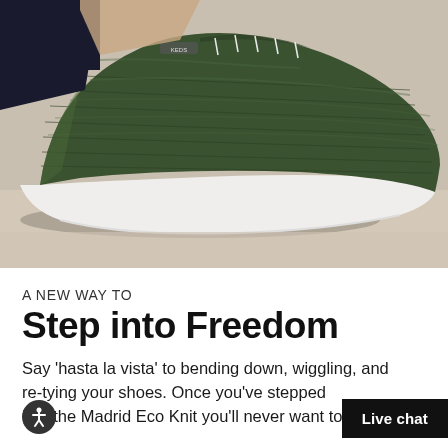[Figure (photo): Close-up photo of a dark olive/forest green knit sneaker with white sole, worn on a wooden surface. The shoe has a textured knit upper and visible laces.]
A NEW WAY TO
Step into Freedom
Say 'hasta la vista' to bending down, wiggling, and re-tying your shoes. Once you've stepped into the Madrid Eco Knit you'll never want to put